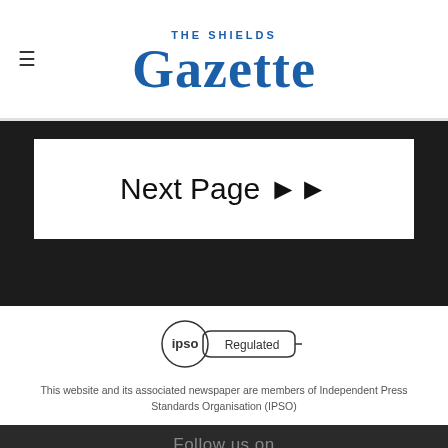The Shields Gazette
Next Page ▶▶
[Figure (logo): IPSO Regulated badge/logo]
This website and its associated newspaper are members of Independent Press Standards Organisation (IPSO)
Follow us on